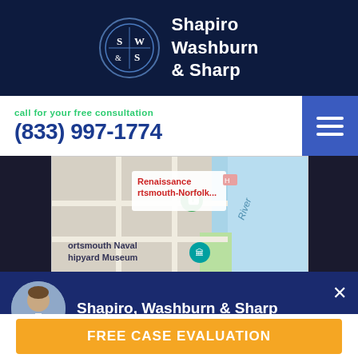[Figure (logo): Shapiro Washburn & Sharp law firm logo with circular emblem showing S|W and &|S, dark navy background]
call for your free consultation
(833) 997-1774
[Figure (map): Google Maps partial view showing Renaissance Portsmouth-Norfolk area and Portsmouth Naval Shipyard Museum near a river]
Suffolk Office
434 North Main Street
[Figure (screenshot): Chat popup overlay with attorney photo, firm name Shapiro, Washburn & Sharp, and message: Need legal assistance? Get help instantly!]
FREE CASE EVALUATION